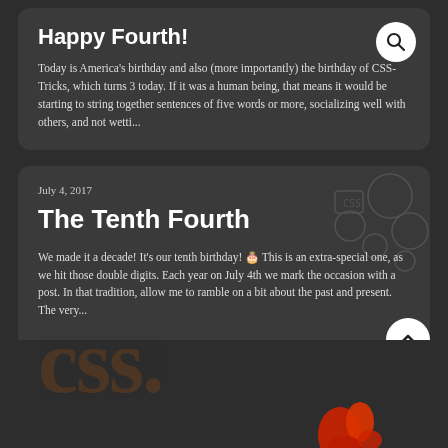Happy Fourth!
Today is America's birthday and also (more importantly) the birthday of CSS-Tricks, which turns 3 today. If it was a human being, that means it would be starting to string together sentences of five words or more, socializing well with others, and not wetti...
July 4, 2017
The Tenth Fourth
We made it a decade! It's our tenth birthday! 🎂 This is an extra-special one, as we hit those double digits. Each year on July 4th we mark the occasion with a post. In that tradition, allow me to ramble on a bit about the past and present. The very...
[Figure (illustration): Decorative background with CSS-Tricks styled text and icons, orange/brown tones. Bottom of page shows a red/orange figure illustration.]